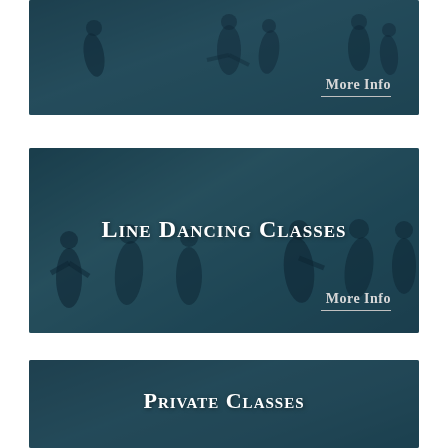[Figure (photo): Top banner card showing people dancing, with 'More Info' link and underline in lower right. Teal/dark blue overlay on crowd of dancers.]
[Figure (photo): Middle banner card showing line dancing class with text 'Line Dancing Classes' centered, and 'More Info' link with underline at lower right. Dark teal overlay on group of dancers.]
[Figure (photo): Bottom banner card (partially visible) showing 'Private Classes' text with a dancer figure in background. Dark teal overlay.]